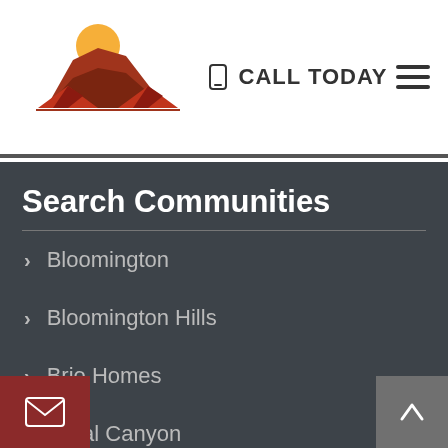[Figure (logo): Real estate company logo with sun, rock formation, and house rooftops in orange and brown tones]
CALL TODAY
[Figure (other): Hamburger menu icon (three horizontal lines)]
Search Communities
Bloomington
Bloomington Hills
Brio Homes
Coral Canyon
Dammeron Valley
Dixie Springs
[Figure (other): Email/envelope icon button on dark red background]
[Figure (other): Scroll to top button with upward chevron on grey background]